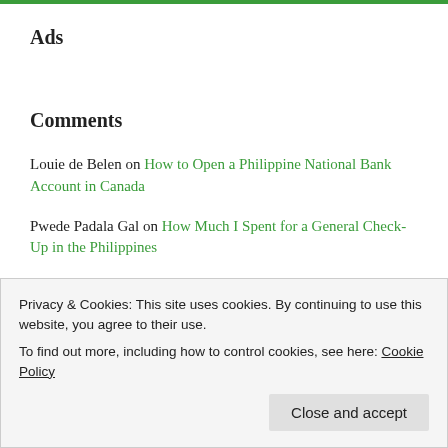Ads
Comments
Louie de Belen on How to Open a Philippine National Bank Account in Canada
Pwede Padala Gal on How Much I Spent for a General Check-Up in the Philippines
Pwede Padala Gal on I Finally Switched to a New Phone
Privacy & Cookies: This site uses cookies. By continuing to use this website, you agree to their use. To find out more, including how to control cookies, see here: Cookie Policy
Canada